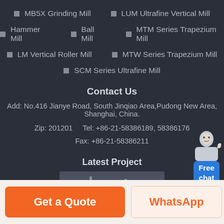MB5X Grinding Mill
LUM Ultrafine Vertical Mill
Hammer Mill
Ball Mill
MTM Series Trapezium Mill
LM Vertical Roller Mill
MTW Series Trapezium Mill
SCM Series Ultrafine Mill
Contact Us
Add: No.416 Jianye Road, South Jinqiao Area,Pudong New Area, Shanghai, China.
Zip: 201201      Tel: +86-21-58386189, 58386176
Fax: +86-21-58386211
Latest Project
[Figure (photo): Industrial grinding plant equipment photo]
Bangladesh 4TPH Feldspar &Quartz Grinding Plant